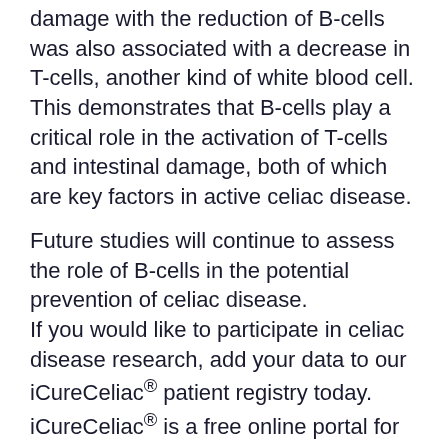damage with the reduction of B-cells was also associated with a decrease in T-cells, another kind of white blood cell. This demonstrates that B-cells play a critical role in the activation of T-cells and intestinal damage, both of which are key factors in active celiac disease.
Future studies will continue to assess the role of B-cells in the potential prevention of celiac disease. If you would like to participate in celiac disease research, add your data to our iCureCeliac® patient registry today. iCureCeliac® is a free online portal for patients, or their caregivers, to provide critical insights into life with celiac disease. Your participation will help create better diagnostic tools and treatments for cross-contact and gluten consumption, governmental policy changes, and access to new and innovative clinical trials nationwide, which may, one day, cure celiac disease.
To read the full study, click here.
Tags: abadie, breaking news, celiac, Celiac Disease, celiac